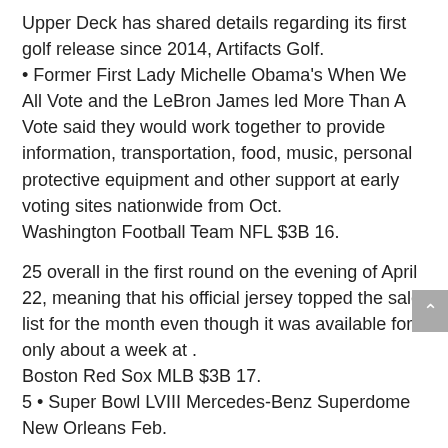Upper Deck has shared details regarding its first golf release since 2014, Artifacts Golf.
• Former First Lady Michelle Obama's When We All Vote and the LeBron James led More Than A Vote said they would work together to provide information, transportation, food, music, personal protective equipment and other support at early voting sites nationwide from Oct.
Washington Football Team NFL $3B 16.
25 overall in the first round on the evening of April 22, meaning that his official jersey topped the sales list for the month even though it was available for only about a week at .
Boston Red Sox MLB $3B 17.
5 • Super Bowl LVIII Mercedes-Benz Superdome New Orleans Feb.
As a brand, we look to partner with not just influential women, but women who want to truly change the